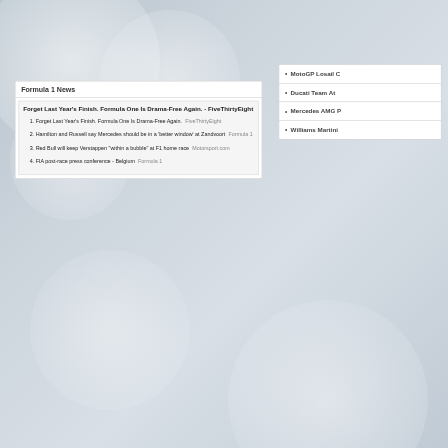Formula 1 News
Forget Last Year's Finish. Formula One Is Drama-Free Again. - FiveThirtyEight
Forget Last Year's Finish. Formula One Is Drama-Free Again.  FiveThirtyEight
Hamilton and Russell say Mercedes should be in a 'better window' at Zandvoort  Formula 1
Red Bull will keep Verstappen "within a bubble" at F1 home race  Motorsport.com
FIA post-race press conference - Belgium  Formula 1
MotoGP Losail C
Ducati Team At
Mercedes AMG P
Williams Martini